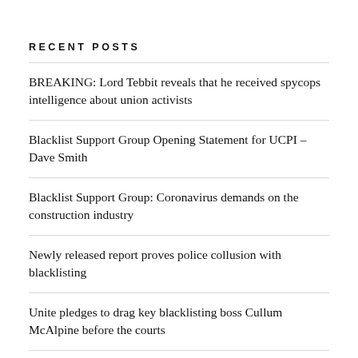RECENT POSTS
BREAKING: Lord Tebbit reveals that he received spycops intelligence about union activists
Blacklist Support Group Opening Statement for UCPI – Dave Smith
Blacklist Support Group: Coronavirus demands on the construction industry
Newly released report proves police collusion with blacklisting
Unite pledges to drag key blacklisting boss Cullum McAlpine before the courts